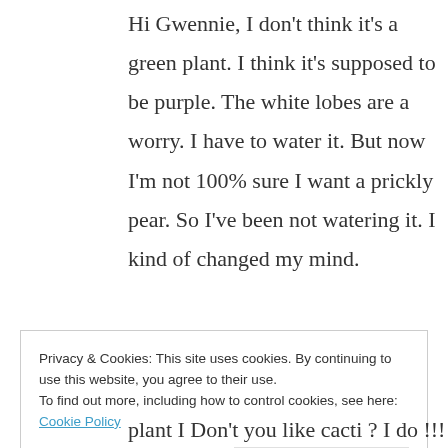Hi Gwennie, I don't think it's a green plant. I think it's supposed to be purple. The white lobes are a worry. I have to water it. But now I'm not 100% sure I want a prickly pear. So I've been not watering it. I kind of changed my mind.
★ Like
REPLY
Privacy & Cookies: This site uses cookies. By continuing to use this website, you agree to their use.
To find out more, including how to control cookies, see here: Cookie Policy
Close and accept
plant I Don't you like cacti ? I do !!!